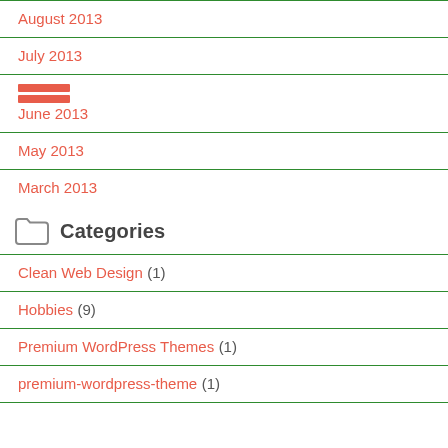August 2013
July 2013
June 2013
May 2013
March 2013
Categories
Clean Web Design (1)
Hobbies (9)
Premium WordPress Themes (1)
premium-wordpress-theme (1)